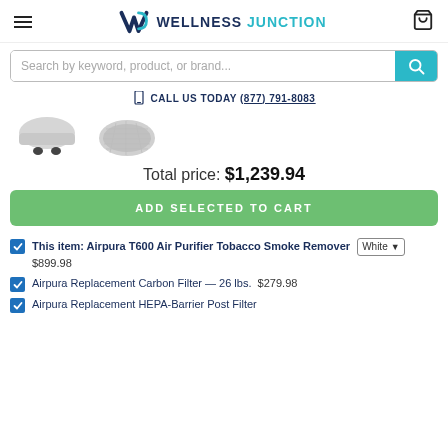Wellness Junction — navigation header with hamburger menu, logo, and cart icon
Search by keyword, product, or brand...
CALL US TODAY (877) 791-8083
[Figure (photo): Two product images of air purifiers, partially visible]
Total price: $1,239.94
ADD SELECTED TO CART
This item: Airpura T600 Air Purifier Tobacco Smoke Remover  White  $899.98
Airpura Replacement Carbon Filter — 26 lbs.  $279.98
Airpura Replacement HEPA-Barrier Post Filter